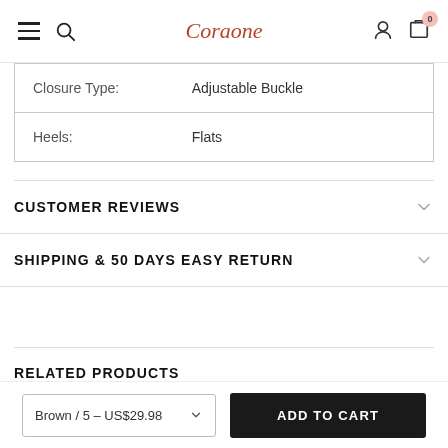Coraone
| Property | Value |
| --- | --- |
| Closure Type: | Adjustable Buckle |
| Heels: | Flats |
CUSTOMER REVIEWS
SHIPPING & 50 DAYS EASY RETURN
RELATED PRODUCTS
Brown / 5 - US$29.98
ADD TO CART